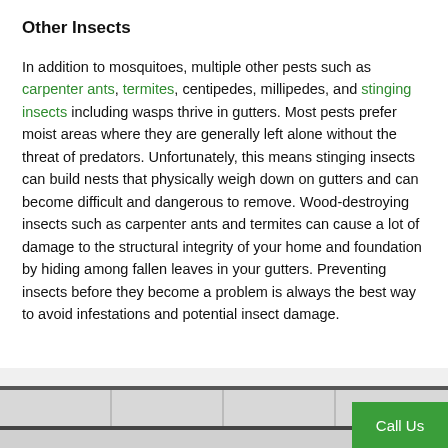Other Insects
In addition to mosquitoes, multiple other pests such as carpenter ants, termites, centipedes, millipedes, and stinging insects including wasps thrive in gutters. Most pests prefer moist areas where they are generally left alone without the threat of predators. Unfortunately, this means stinging insects can build nests that physically weigh down on gutters and can become difficult and dangerous to remove. Wood-destroying insects such as carpenter ants and termites can cause a lot of damage to the structural integrity of your home and foundation by hiding among fallen leaves in your gutters. Preventing insects before they become a problem is always the best way to avoid infestations and potential insect damage.
[Figure (photo): Close-up photo of white/grey roof shingles at the bottom of the page]
Call Us